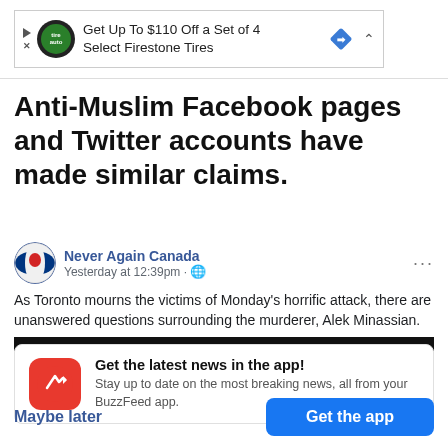[Figure (screenshot): Advertisement banner: 'Get Up To $110 Off a Set of 4 Select Firestone Tires' with auto logo and blue diamond icon]
Anti-Muslim Facebook pages and Twitter accounts have made similar claims.
[Figure (screenshot): Facebook post by 'Never Again Canada' dated 'Yesterday at 12:39pm' with globe icon. Text: 'As Toronto mourns the victims of Monday's horrific attack, there are unanswered questions surrounding the murderer, Alek Minassian.' Followed by a black redacted bar.]
[Figure (screenshot): BuzzFeed app notification card: 'Get the latest news in the app! Stay up to date on the most breaking news, all from your BuzzFeed app.' with red BuzzFeed logo icon.]
Maybe later
Get the app